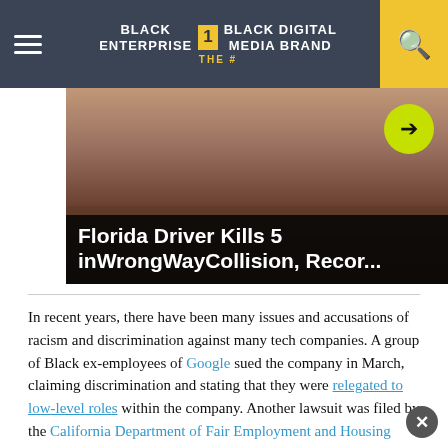BLACK ENTERPRISE — THE #1 BLACK DIGITAL MEDIA BRAND
[Figure (photo): Hero image of a person with overlaid headline text: Florida Driver Kills 5 inWrongWayCollision, Recor...]
In recent years, there have been many issues and accusations of racism and discrimination against many tech companies. A group of Black ex-employees of Google sued the company in March, claiming discrimination and stating that they were relegated to low-level roles within the company. Another lawsuit was filed by the California Department of Fair Employment and Housing which alleges that Elon Musk's Tesla subjected Black employees to racial slurs and language